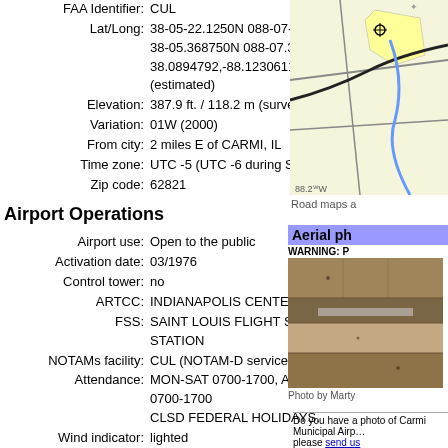FAA Identifier: CUL
Lat/Long: 38-05-22.1250N 088-07-23.0200W
38-05.368750N 088-07.383667W
38.0894792,-88.1230611
(estimated)
Elevation: 387.9 ft. / 118.2 m (surveyed)
Variation: 01W (2000)
From city: 2 miles E of CARMI, IL
Time zone: UTC -5 (UTC -6 during Standard Time)
Zip code: 62821
[Figure (map): Road map showing airport location with roads and geographic features near CARMI, IL. Label shows 88.2W]
Road maps a
Airport Operations
Airport use: Open to the public
Activation date: 03/1976
Control tower: no
ARTCC: INDIANAPOLIS CENTER
FSS: SAINT LOUIS FLIGHT SERVICE STATION
NOTAMs facility: CUL (NOTAM-D service available)
Attendance: MON-SAT 0700-1700, ALL SUN 0700-1700
CLSD FEDERAL HOLIDAYS.
[Figure (photo): Aerial photograph of Carmi Municipal Airport showing agricultural fields and runway from above]
Photo by Marty
Wind indicator: lighted
Segmented circle: yes
Do you have a photo of Carmi Municipal Airport? please send us